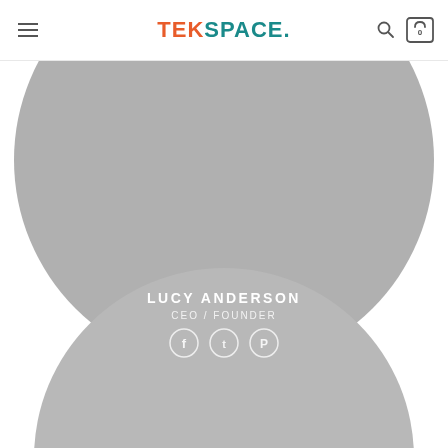TEKSPACE. navigation header with hamburger menu, search icon, and cart icon showing 0
[Figure (photo): Circular profile photo placeholder (gray) for Lucy Anderson, CEO/Founder, with bottom half visible and social media icons (Facebook, Twitter, Pinterest)]
LUCY ANDERSON
CEO / FOUNDER
[Figure (photo): Second circular profile photo placeholder (gray), showing top half only, at bottom of page]